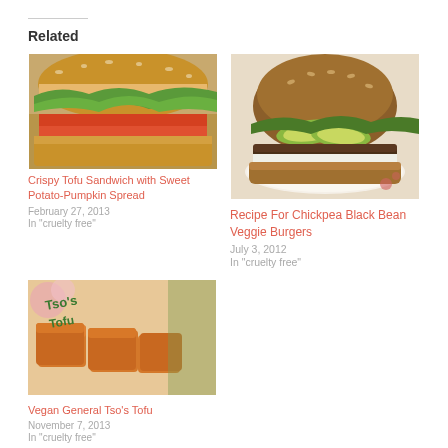Related
[Figure (photo): Photo of a crispy tofu sandwich with sweet potato-pumpkin spread on a grainy bun with spinach and vegetables]
Crispy Tofu Sandwich with Sweet Potato-Pumpkin Spread
February 27, 2013
In "cruelty free"
[Figure (photo): Photo of a chickpea black bean veggie burger on a whole grain bun with avocado and greens on a plate]
Recipe For Chickpea Black Bean Veggie Burgers
July 3, 2012
In "cruelty free"
[Figure (photo): Photo of vegan General Tso's tofu pieces with text overlay reading 'Tso's Tofu']
Vegan General Tso's Tofu
November 7, 2013
In "cruelty free"